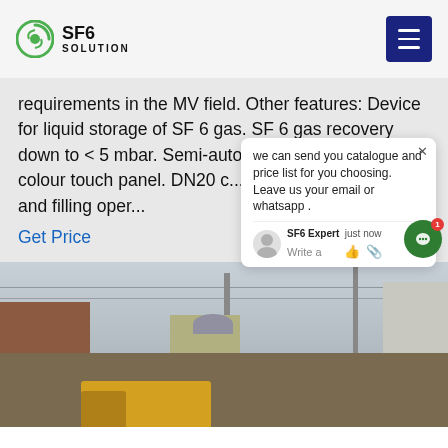SF6 SOLUTION
requirements in the MV field. Other features: Device for liquid storage of SF 6 gas. SF 6 gas recovery down to < 5 mbar. Semi-automatic control and 3.5" colour touch panel. DN20 c... recovery, evacuation and filling oper...
Get Price
we can send you catalogue and price list for you choosing.
Leave us your email or whatsapp .
SF6 Expert   just now
Write a
[Figure (photo): Outdoor electrical substation scene with yellow truck, industrial buildings, power lines, dome structure, and transmission towers in the background under an overcast sky.]